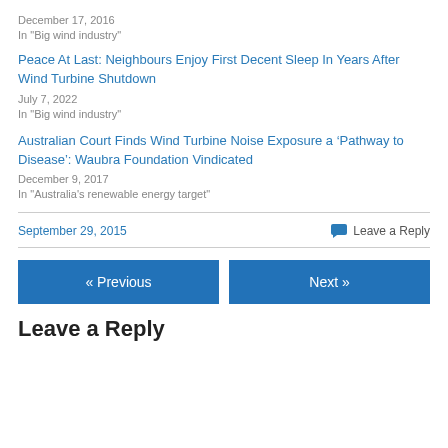December 17, 2016
In "Big wind industry"
Peace At Last: Neighbours Enjoy First Decent Sleep In Years After Wind Turbine Shutdown
July 7, 2022
In "Big wind industry"
Australian Court Finds Wind Turbine Noise Exposure a ‘Pathway to Disease’: Waubra Foundation Vindicated
December 9, 2017
In "Australia's renewable energy target"
September 29, 2015
Leave a Reply
« Previous
Next »
Leave a Reply